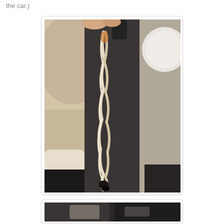the car.)
[Figure (photo): Photo taken inside a car showing a dark gray armrest or center console with a string of melted or burned material (possibly seatbelt or foam) draped over it. A person's legs/clothing visible in the background along with car interior seats.]
[Figure (photo): Partial photo at the bottom of the page showing car interior floor area, cropped.]